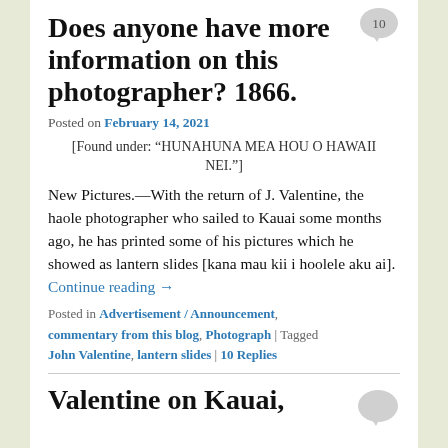Does anyone have more information on this photographer? 1866.
Posted on February 14, 2021
[Found under: “HUNAHUNA MEA HOU O HAWAII NEI.”]
New Pictures.—With the return of J. Valentine, the haole photographer who sailed to Kauai some months ago, he has printed some of his pictures which he showed as lantern slides [kana mau kii i hoolele aku ai]. Continue reading →
Posted in Advertisement / Announcement, commentary from this blog, Photograph | Tagged John Valentine, lantern slides | 10 Replies
Valentine on Kauai,